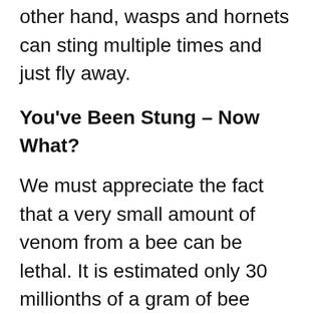other hand, wasps and hornets can sting multiple times and just fly away.
You've Been Stung – Now What?
We must appreciate the fact that a very small amount of venom from a bee can be lethal. It is estimated only 30 millionths of a gram of bee venom (30 micrograms) can kill a person. A small percentage of people will have a severe, life-threatening reaction to a bee sting. This is call anaphylaxis and it can be fatal. It is estimated that about 2 million U.S. citizens are highly allergic to bee stings (about 1 in 155 people) and of all of those who are allergic, only 1 in 1,000 will experience the severest allergic reaction. On average, 65 people will die of a bee sting in the U.S. each year. This is